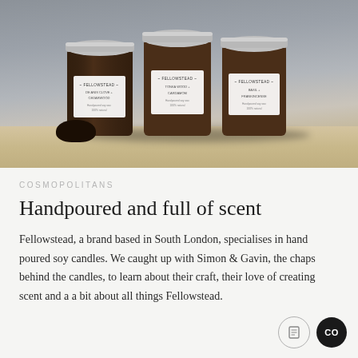[Figure (photo): Three amber glass Fellowstead candle jars with silver screw-top lids, arranged on a wooden surface against a grey background. Each jar has a white label with the Fellowstead brand name and scent information.]
COSMOPOLITANS
Handpoured and full of scent
Fellowstead, a brand based in South London, specialises in hand poured soy candles. We caught up with Simon & Gavin, the chaps behind the candles, to learn about their craft, their love of creating scent and a a bit about all things Fellowstead.